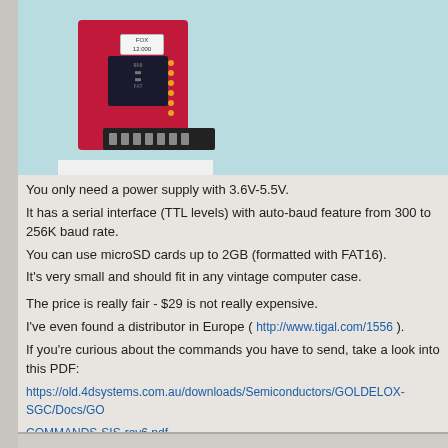[Figure (photo): A red circuit board (4D Systems uDrive module) with a black chip, gold pins/dots on the right side, and a black connector at the bottom, photographed against a light blue background with white base.]
You only need a power supply with 3.6V-5.5V.
It has a serial interface (TTL levels) with auto-baud feature from 300 to 256K baud rate.
You can use microSD cards up to 2GB (formatted with FAT16).
It's very small and should fit in any vintage computer case.
The price is really fair - $29 is not really expensive.
I've even found a distributor in Europe ( http://www.tigal.com/1556 ).
If you're curious about the commands you have to send, take a look into this PDF:
https://old.4dsystems.com.au/downloads/Semiconductors/GOLDELOX-SGC/Docs/GO
COMMANDS-SIS-rev6.pdf
You have to add a MAX232 or a similar chip for converting voltage level to RS232.
P.S.: Meanwhile I have created an own page for it, see here.
P.P.S.: 4D Systems does not sell nor produce it anymore. Milford Instruments sells it n
udrive on their web page).